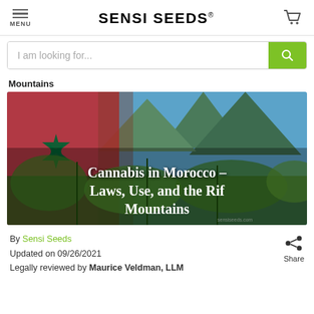SENSI SEEDS
I am looking for...
Mountains
[Figure (photo): Hero image showing Moroccan landscape with Rif Mountains, cannabis plants, and Moroccan flag with green star. Overlaid white bold text reads: Cannabis in Morocco – Laws, Use, and the Rif Mountains]
By Sensi Seeds
Updated on 09/26/2021
Legally reviewed by Maurice Veldman, LLM